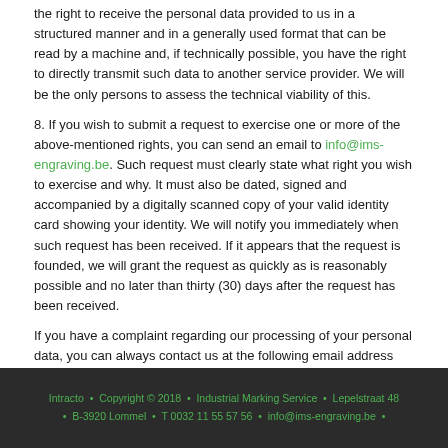the right to receive the personal data provided to us in a structured manner and in a generally used format that can be read by a machine and, if technically possible, you have the right to directly transmit such data to another service provider. We will be the only persons to assess the technical viability of this.
8. If you wish to submit a request to exercise one or more of the above-mentioned rights, you can send an email to info@ims-engraving.be. Such request must clearly state what right you wish to exercise and why. It must also be dated, signed and accompanied by a digitally scanned copy of your valid identity card showing your identity. We will notify you immediately when such request has been received. If it appears that the request is founded, we will grant the request as quickly as is reasonably possible and no later than thirty (30) days after the request has been received.
If you have a complaint regarding our processing of your personal data, you can always contact us at the following email address info@ims-engraving.be. If you are still dissatisfied with our answer, then you are at liberty to file a complaint with the competent data protection authority, the Belgian Privacy Commission. For more information, go to http://www.privacycommission.be.
Intracto • Copyright © 2018 • Industrial Marking Service • Lepelstraat 48 • B-3920 Lommel • T 0032 11 55 57 56 • info@ims-engraving.be •